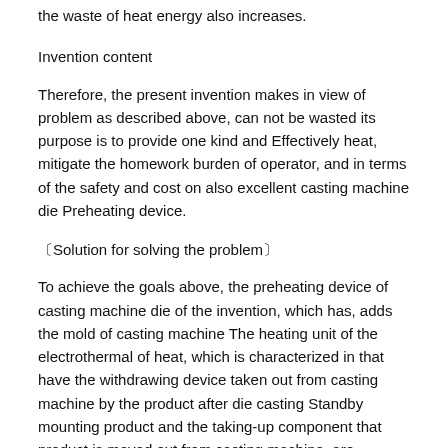the waste of heat energy also increases.
Invention content
Therefore, the present invention makes in view of problem as described above, can not be wasted its purpose is to provide one kind and Effectively heat, mitigate the homework burden of operator, and in terms of the safety and cost on also excellent casting machine die Preheating device.
〔Solution for solving the problem〕
To achieve the goals above, the preheating device of casting machine die of the invention, which has, adds the mold of casting machine The heating unit of the electrothermal of heat, which is characterized in that have the withdrawing device taken out from casting machine by the product after die casting Standby mounting product and the taking-up component that product is moved out from casting machine, are supported on the taking-up structure to the heating unit disassembly ease On the face opposite with the mounting surface of product of part.
It is the heating unit of electrothermal to make the